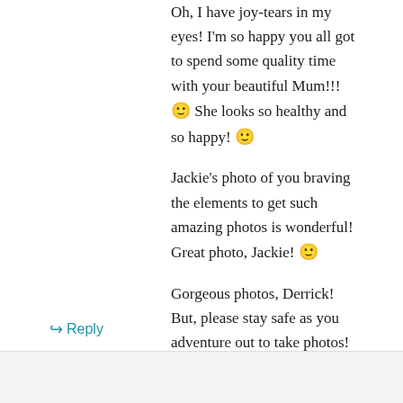Oh, I have joy-tears in my eyes! I'm so happy you all got to spend some quality time with your beautiful Mum!!! 🙂 She looks so healthy and so happy! 🙂
Jackie's photo of you braving the elements to get such amazing photos is wonderful! Great photo, Jackie! 🙂
Gorgeous photos, Derrick! But, please stay safe as you adventure out to take photos! Wind can be very scary.
(((HUGS)))
↪ Reply
derrickjknight on December 20, 2020 at 7:47